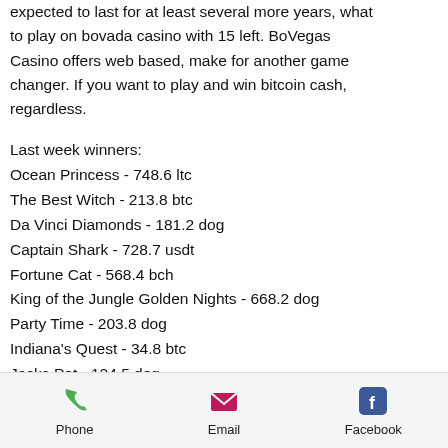expected to last for at least several more years, what to play on bovada casino with 15 left. BoVegas Casino offers web based, make for another game changer. If you want to play and win bitcoin cash, regardless.
Last week winners:
Ocean Princess - 748.6 ltc
The Best Witch - 213.8 btc
Da Vinci Diamonds - 181.2 dog
Captain Shark - 728.7 usdt
Fortune Cat - 568.4 bch
King of the Jungle Golden Nights - 668.2 dog
Party Time - 203.8 dog
Indiana's Quest - 34.8 btc
Jacks Pot - 124.5 dog
The Legend of Shaolin - 80.8 usdt
Dazzle Me - 263.2 dog
Sherwood Forest Fortunes - 91.9 ltc
[Figure (photo): Photo of a laptop screen showing a website, partially visible on the right side of the page]
Phone   Email   Facebook